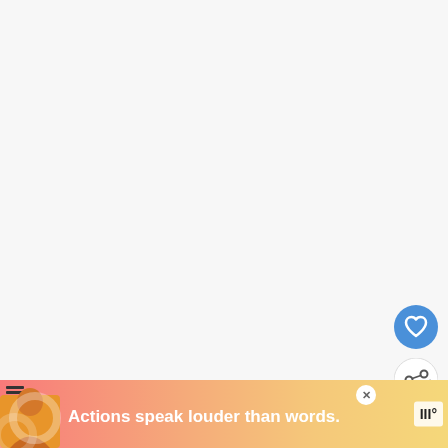[Figure (screenshot): Mostly blank whitish-gray content area with floating UI buttons (heart/like and share) on the right side, and a 'WHAT'S NEXT' recommendation bar in the lower right]
First, See if Your Route's
[Figure (infographic): Advertisement banner with pink/orange gradient background, silhouette of a person, text 'Actions speak louder than words.' and a logo on the right, with a close button]